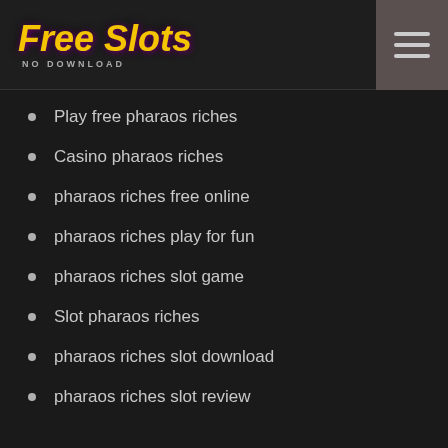[Figure (logo): Free Slots No Download logo with yellow italic text and purple glow effect]
Play free pharaos riches
Casino pharaos riches
pharaos riches free online
pharaos riches play for fun
pharaos riches slot game
Slot pharaos riches
pharaos riches slot download
pharaos riches slot review